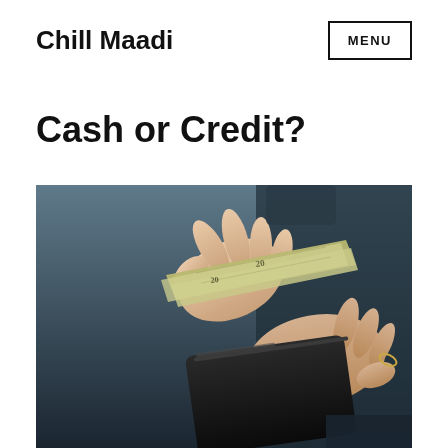Chill Maadi  MENU
Cash or Credit?
[Figure (photo): Close-up photograph of two hands pulling cash (dollar bills, including $20 notes) from a black leather wallet against a dark background]